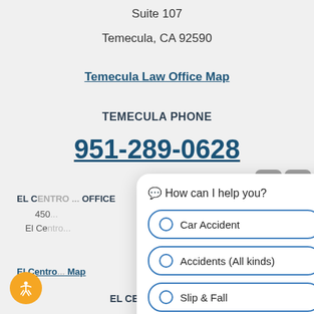Suite 107
Temecula, CA 92590
Temecula Law Office Map
TEMECULA PHONE
951-289-0628
EL CE... 450... El Ce...
El Centro... Map
EL CENTRO PHONE
[Figure (screenshot): Chat popup overlay showing 'How can I help you?' with three radio button options: Car Accident, Accidents (All kinds), Slip & Fall]